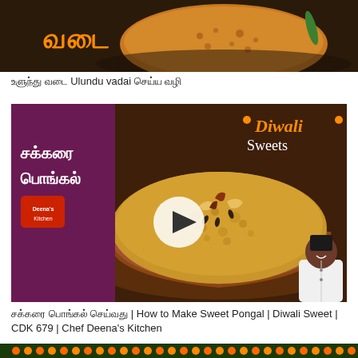[Figure (photo): Photo of vadai (fried lentil fritter) on a dark plate with Tamil text 'வடை' in orange letters]
உளுந்து வடை Ulundu vadai செய்ய வழி
[Figure (screenshot): Video thumbnail for Sweet Pongal recipe. Shows a bowl of chakkarai pongal (sweet pongal) with cashews and dried fruits on top. Purple/maroon panel on left with Tamil text 'சக்கரை பொங்கல்' and Deena's Kitchen logo. Right side shows 'Diwali Sweets' text in orange/white. Play button circle in center. Chef in white uniform at bottom right.]
சக்கரை பொங்கல் செய்வது | How to Make Sweet Pongal | Diwali Sweet | CDK 679 | Chef Deena's Kitchen
[Figure (photo): Decorative floral garland border with orange and red flowers on green leaves, Diwali decoration style]